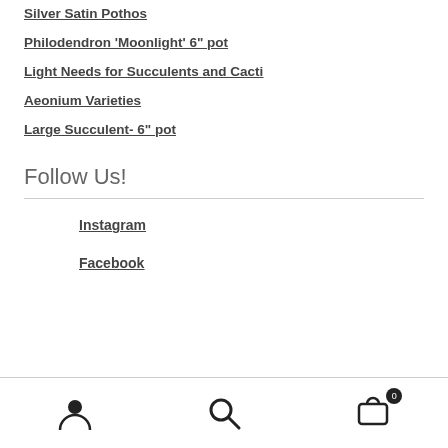Silver Satin Pothos
Philodendron 'Moonlight' 6" pot
Light Needs for Succulents and Cacti
Aeonium Varieties
Large Succulent- 6" pot
Follow Us!
Instagram
Facebook
Account | Search | Cart (0)